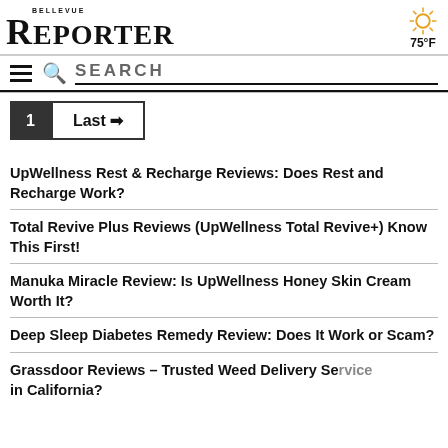BELLEVUE REPORTER  75°F
≡  🔍 SEARCH
1  Last →
UpWellness Rest & Recharge Reviews: Does Rest and Recharge Work?
Total Revive Plus Reviews (UpWellness Total Revive+) Know This First!
Manuka Miracle Review: Is UpWellness Honey Skin Cream Worth It?
Deep Sleep Diabetes Remedy Review: Does It Work or Scam?
Grassdoor Reviews – Trusted Weed Delivery Service in California?